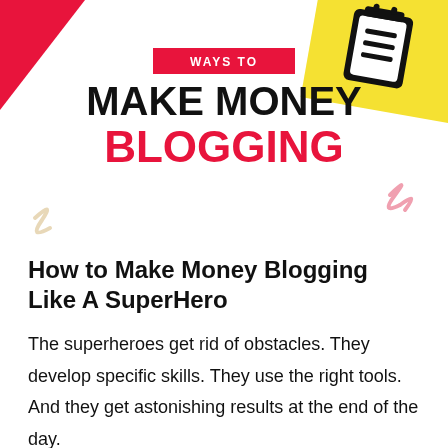[Figure (infographic): Header graphic with red triangle top-left, yellow rotated rectangle with notepad icon top-right, red banner reading WAYS TO, bold text MAKE MONEY BLOGGING, decorative pink and cream squiggles]
How to Make Money Blogging Like A SuperHero
The superheroes get rid of obstacles. They develop specific skills. They use the right tools. And they get astonishing results at the end of the day.